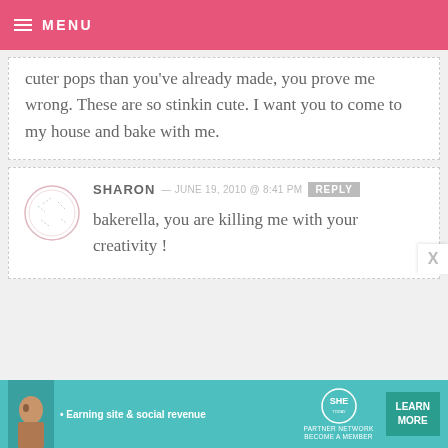MENU
cuter pops than you've already made, you prove me wrong. These are so stinkin cute. I want you to come to my house and bake with me.
SHARON — JUNE 19, 2010 @ 8:41 PM REPLY
bakerella, you are killing me with your creativity !